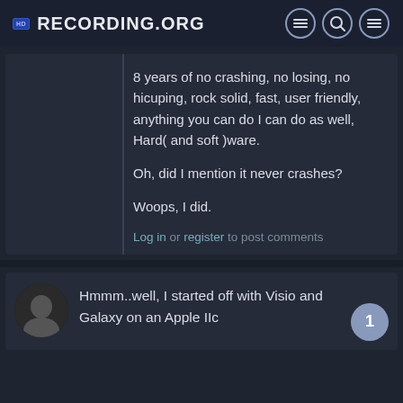Recording.org
8 years of no crashing, no losing, no hicuping, rock solid, fast, user friendly, anything you can do I can do as well, Hard( and soft )ware.

Oh, did I mention it never crashes?

Woops, I did.
Log in or register to post comments
Hmmm..well, I started off with Visio and Galaxy on an Apple IIc